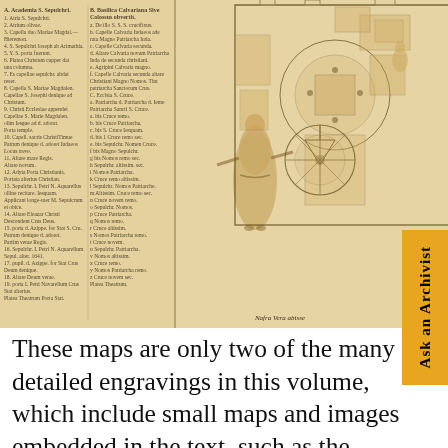[Figure (illustration): Historical engraving/map of what appears to be a Franciscan monastery or Holy Land site, showing architectural floor plans, a robed figure (friar), and detailed engravings with text annotations in columns on the left side. Sepia/tan toned.]
These maps are only two of the many detailed engravings in this volume, which include small maps and images embedded in the text, such as the below depiction of the town and surroundings of Bethany, as well as additional large folding plates with architectural depictions of important churches in and around Jerusalem, including a plan of the Church of the Holy Sepulcher, complete with a depiction of the Stigmatization of St. Francis in the upper right